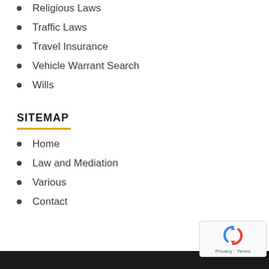Religious Laws
Traffic Laws
Travel Insurance
Vehicle Warrant Search
Wills
SITEMAP
Home
Law and Mediation
Various
Contact